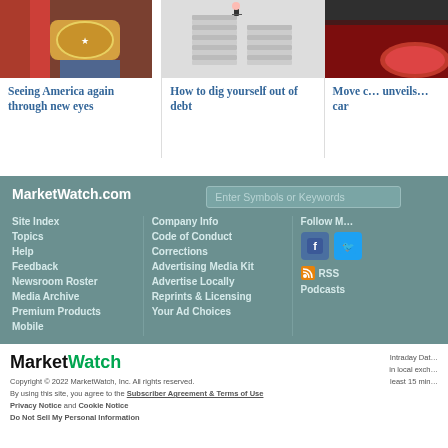[Figure (photo): Person wearing rodeo/country belt buckle with jeans]
Seeing America again through new eyes
[Figure (photo): Person standing on large stacks of papers/documents]
How to dig yourself out of debt
[Figure (photo): Red car partially visible]
Move c… unveils… car
MarketWatch.com
Enter Symbols or Keywords
Site Index
Topics
Help
Feedback
Newsroom Roster
Media Archive
Premium Products
Mobile
Company Info
Code of Conduct
Corrections
Advertising Media Kit
Advertise Locally
Reprints & Licensing
Your Ad Choices
Follow M…
RSS
Podcasts
MarketWatch
Copyright © 2022 MarketWatch, Inc. All rights reserved.
By using this site, you agree to the Subscriber Agreement & Terms of Use
Privacy Notice and Cookie Notice
Do Not Sell My Personal Information
Intraday Data provided by… in local exch… least 15 min…